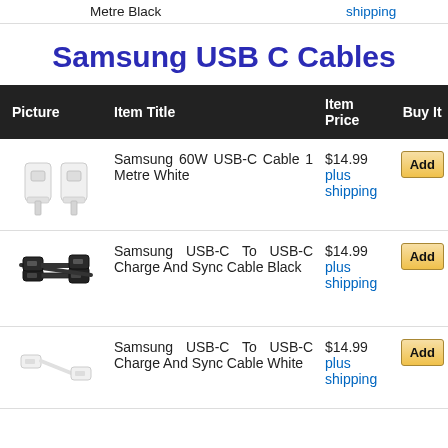Metre Black    shipping
Samsung USB C Cables
| Picture | Item Title | Item Price | Buy It |
| --- | --- | --- | --- |
| [image] | Samsung 60W USB-C Cable 1 Metre White | $14.99 plus shipping | Add |
| [image] | Samsung USB-C To USB-C Charge And Sync Cable Black | $14.99 plus shipping | Add |
| [image] | Samsung USB-C To USB-C Charge And Sync Cable White | $14.99 plus shipping | Add |